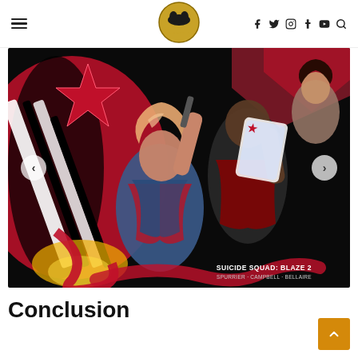Dark Knight News — navigation header with hamburger menu, logo, social icons (facebook, twitter, instagram, tumblr, youtube, search)
[Figure (illustration): Comic book cover art for Suicide Squad: Blaze 2 by Spurrier, Campbell, Bellaire. Stylized illustration featuring characters in red, black, and blue tones with dynamic action poses. A female character with pink hair is in the foreground, and other characters are behind her. Navigation arrows on left and right sides.]
Conclusion